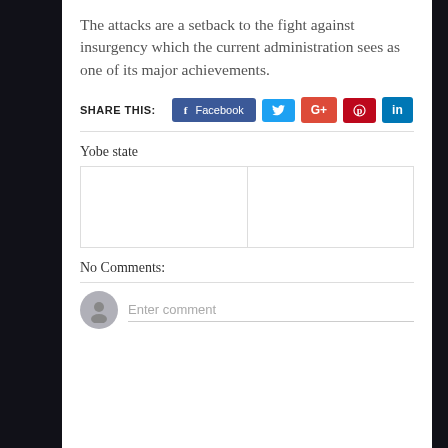The attacks are a setback to the fight against insurgency which the current administration sees as one of its major achievements.
SHARE THIS:
Yobe state
No Comments:
Enter comment